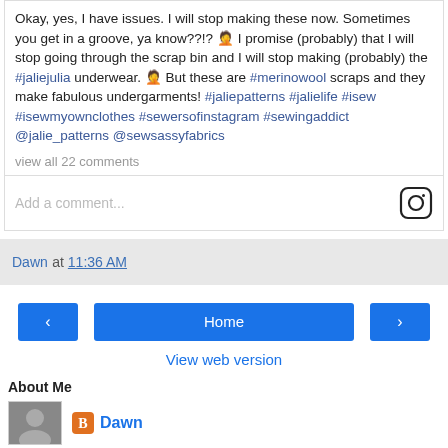Okay, yes, I have issues. I will stop making these now. Sometimes you get in a groove, ya know??!? 🤦 I promise (probably) that I will stop going through the scrap bin and I will stop making (probably) the #jaliejulia underwear. 🤦 But these are #merinowool scraps and they make fabulous undergarments! #jaliepatterns #jalielife #isew #isewmyownclothes #sewersofinstagram #sewingaddict @jalie_patterns @sewsassyfabrics
view all 22 comments
Add a comment...
Dawn at 11:36 AM
Home
View web version
About Me
Dawn